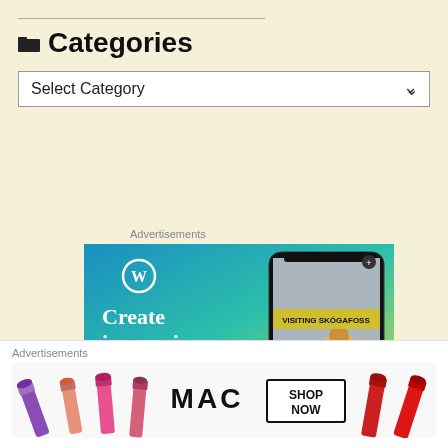Categories
Select Category
Advertisements
[Figure (illustration): WordPress advertisement showing 'Create immersive stories.' with a smartphone displaying 'VISITING SKÓGAFOSS' and a WordPress logo on a blue-green gradient background. Bottom text says 'GET THE APP'.]
Advertisements
[Figure (illustration): MAC Cosmetics advertisement showing lipsticks in purple, pink, and red colors with 'MAC' text and 'SHOP NOW' button.]